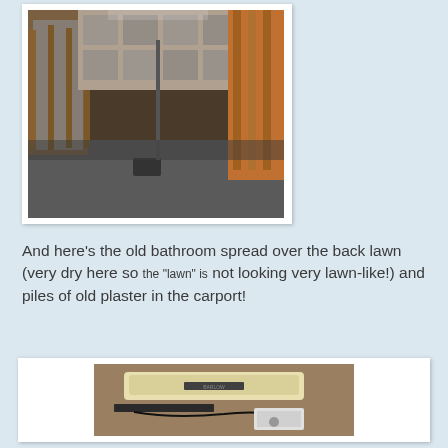[Figure (photo): Interior photo of a bathroom under renovation showing exposed wood framing, reflective insulation on walls, a bare floor, and a mop or broom handle visible in the middle of the room.]
And here's the old bathroom spread over the back lawn (very dry here so the "lawn" is not looking very lawn-like!) and piles of old plaster in the carport!
[Figure (photo): Photo of old bathroom fixtures and materials laid out on a lawn/carport including a cream-colored bathtub, dark items, cables, and a white box, photographed from above.]